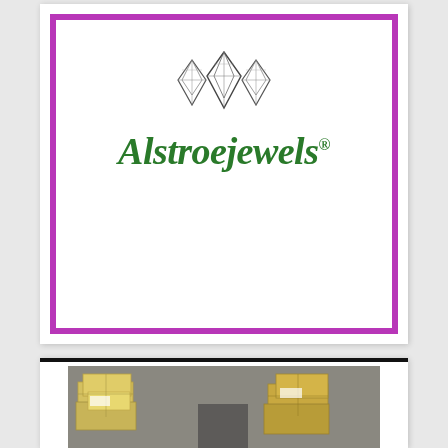[Figure (logo): Alstroejewels logo: diamonds graphic above cursive green italic text 'Alstroejewels®' inside a purple border frame on white background]
[Figure (photo): Photograph of cardboard boxes and packages on a warehouse floor or loading area, partially visible at bottom of page]